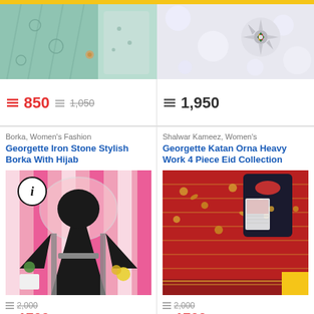[Figure (photo): Top-left product image: green embroidered fabric/clothing item]
[Figure (photo): Top-right product image: decorative brooch/jewelry on white background]
850  1,050
1,950
Borka, Women's Fashion
Georgette Iron Stone Stylish Borka With Hijab
[Figure (photo): Black abaya/borka with hijab worn by model against pink striped background with flowers]
2,000  1700
Shalwar Kameez, Women's
Georgette Katan Orna Heavy Work 4 Piece Eid Collection
[Figure (photo): Red and black embroidered 4-piece shalwar kameez set laid flat]
2,000  1700